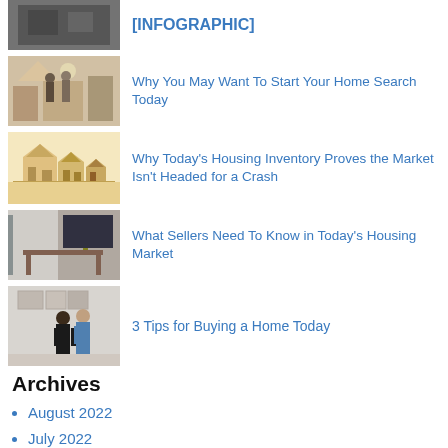[Figure (photo): Black and white thumbnail image at top (partial, cut off)]
[INFOGRAPHIC]
[Figure (photo): People standing in a bright room with furniture]
Why You May Want To Start Your Home Search Today
[Figure (photo): Miniature house models illustration]
Why Today's Housing Inventory Proves the Market Isn't Headed for a Crash
[Figure (photo): Interior dining/living room]
What Sellers Need To Know in Today's Housing Market
[Figure (photo): Two people standing in a bright room]
3 Tips for Buying a Home Today
Archives
August 2022
July 2022
June 2022
May 2022 (partial)